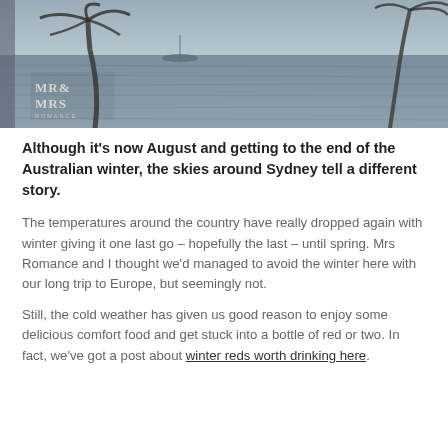[Figure (photo): Grayscale photograph of a waterfront scene with palm trees silhouetted against water and sky, with a small boat visible. A logo reading 'MR & MRS ROMANCE' is overlaid in the lower left corner.]
Although it's now August and getting to the end of the Australian winter, the skies around Sydney tell a different story.
The temperatures around the country have really dropped again with winter giving it one last go – hopefully the last – until spring. Mrs Romance and I thought we'd managed to avoid the winter here with our long trip to Europe, but seemingly not.
Still, the cold weather has given us good reason to enjoy some delicious comfort food and get stuck into a bottle of red or two. In fact, we've got a post about winter reds worth drinking here.